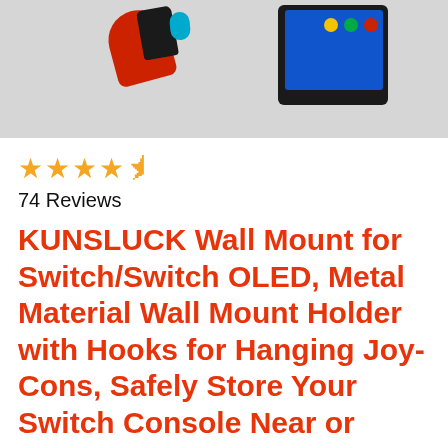[Figure (photo): Product photo showing Nintendo Switch wall mount with Joy-Con controllers hanging on hooks, mounted on a white wall near a TV]
★★★★★ 74 Reviews
KUNSLUCK Wall Mount for Switch/Switch OLED, Metal Material Wall Mount Holder with Hooks for Hanging Joy-Cons, Safely Store Your Switch Console Near or Behind TV (Black)
🔵Save space🔵With this wall mount